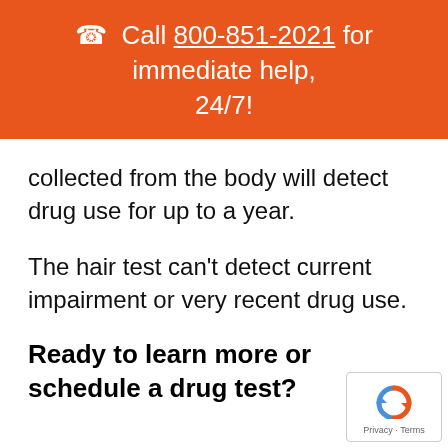☎ Call 800-851-2021 for immediate help, 24/7!
collected from the body will detect drug use for up to a year.
The hair test can't detect current impairment or very recent drug use.
Ready to learn more or schedule a drug test?
[Figure (logo): Google reCAPTCHA badge with recycling-arrow logo icon and Privacy · Terms text]